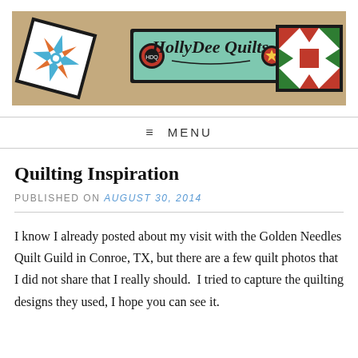[Figure (illustration): HollyDee Quilts banner header with tan/beige background, showing a quilt block on the left (white background with blue/orange star design, black border), center sign reading 'HollyDee Quilts' in green with black border and small circular logo, and quilt block on the right (red/green/white Ohio star pattern, black border).]
≡ MENU
Quilting Inspiration
PUBLISHED ON August 30, 2014
I know I already posted about my visit with the Golden Needles Quilt Guild in Conroe, TX, but there are a few quilt photos that I did not share that I really should.  I tried to capture the quilting designs they used, I hope you can see it.